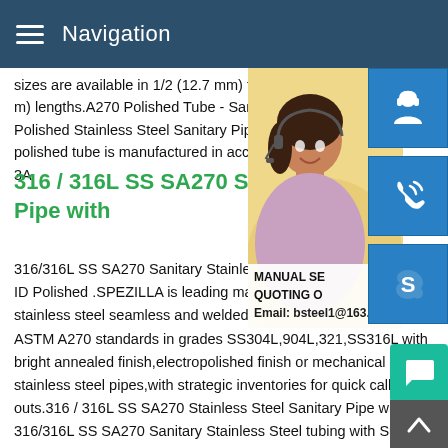Navigation
sizes are available in 1/2 (12.7 mm) to.8 (2 m) lengths.A270 Polished Tube - Sanitube Polished Stainless Steel Sanitary Pipe pro polished tube is manufactured in accordance 3A
316 / 316L SS SA270 Stainless Pipe with
[Figure (photo): Customer service representative woman wearing headset, with blue icon buttons for customer support, phone/call, and Skype on the right side. Overlay shows 'MANUAL SE... QUOTING O...' and 'Email: bsteel1@163.com']
316/316L SS SA270 Sanitary Stainless St ID Polished .SPEZILLA is leading manufacture stainless steel seamless and welded tubing manufactured as per ASTM A270 standards in grades SS304L,904L,321,SS316L with bright annealed finish,electropolished finish or mechanical polish all stainless steel pipes,with strategic inventories for quick call-outs.316 / 316L SS SA270 Stainless Steel Sanitary Pipe with 316/316L SS SA270 Sanitary Stainless Steel tubing with Surface